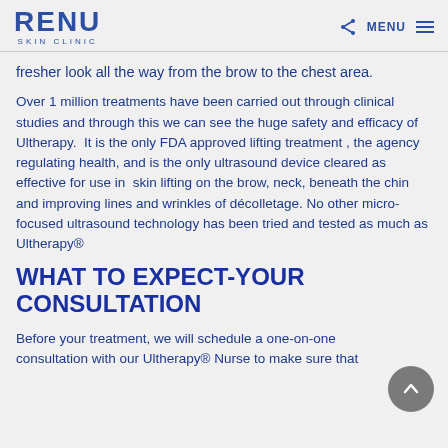RENU SKIN CLINIC
fresher look all the way from the brow to the chest area.
Over 1 million treatments have been carried out through clinical studies and through this we can see the huge safety and efficacy of Ultherapy.  It is the only FDA approved lifting treatment , the agency regulating health, and is the only ultrasound device cleared as effective for use in  skin lifting on the brow, neck, beneath the chin and improving lines and wrinkles of décolletage. No other micro-focused ultrasound technology has been tried and tested as much as Ultherapy®
WHAT TO EXPECT-YOUR CONSULTATION
Before your treatment, we will schedule a one-on-one consultation with our Ultherapy® Nurse to make sure that